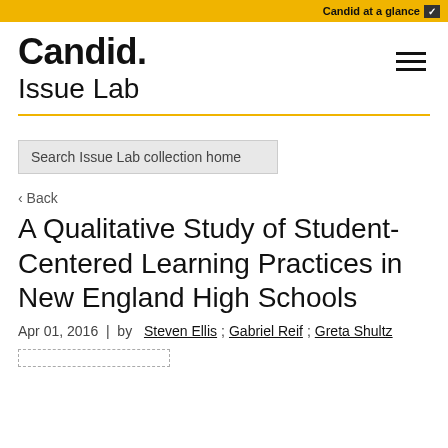Candid at a glance
Candid.
Issue Lab
Search Issue Lab collection home
‹ Back
A Qualitative Study of Student-Centered Learning Practices in New England High Schools
Apr 01, 2016  |  by  Steven Ellis; Gabriel Reif; Greta Shultz